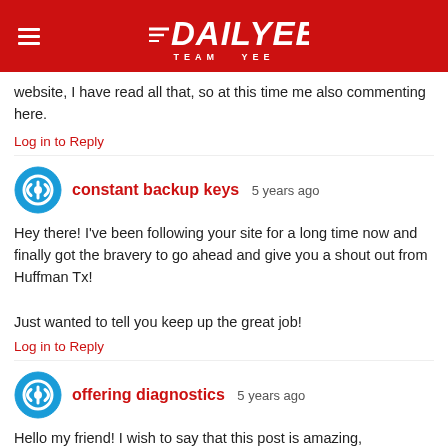DAILYEE TEAM YEE
website, I have read all that, so at this time me also commenting here.
Log in to Reply
constant backup keys  5 years ago
Hey there! I’ve been following your site for a long time now and finally got the bravery to go ahead and give you a shout out from Huffman Tx!

Just wanted to tell you keep up the great job!
Log in to Reply
offering diagnostics  5 years ago
Hello my friend! I wish to say that this post is amazing,
great written and come with approximately all